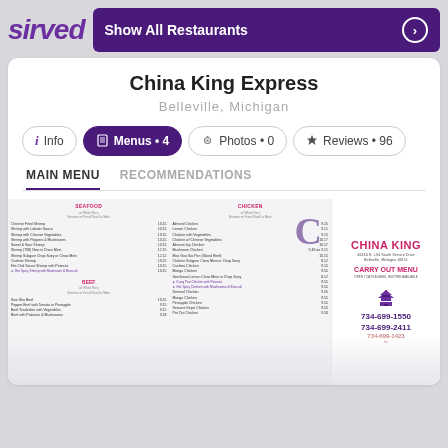[Figure (logo): Sirved logo in italic purple bold text]
[Figure (infographic): Show All Restaurants button with arrow circle icon on dark purple background]
China King Express
Belleville, Michigan
[Figure (infographic): Navigation tabs: Info, Menus 4 (active/purple), Photos 0, Reviews 96]
MAIN MENU
RECOMMENDATIONS
[Figure (screenshot): Preview of China King Express menu showing Seafood, Chicken, Beef sections with items and prices, and China King logo panel with carry out info and phone numbers 734-699-1550, 734-699-2411]